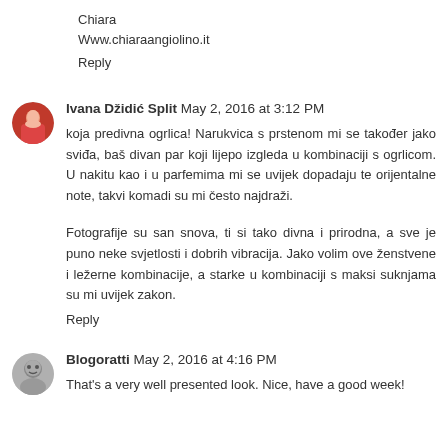Chiara
Www.chiaraangiolino.it
Reply
Ivana Džidić Split  May 2, 2016 at 3:12 PM
koja predivna ogrlica! Narukvica s prstenom mi se također jako sviđa, baš divan par koji lijepo izgleda u kombinaciji s ogrlicom. U nakitu kao i u parfemima mi se uvijek dopadaju te orijentalne note, takvi komadi su mi često najdraži.
Fotografije su san snova, ti si tako divna i prirodna, a sve je puno neke svjetlosti i dobrih vibracija. Jako volim ove ženstvene i ležerne kombinacije, a starke u kombinaciji s maksi suknjama su mi uvijek zakon.
Reply
Blogoratti  May 2, 2016 at 4:16 PM
That's a very well presented look. Nice, have a good week!